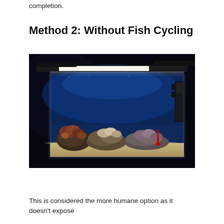completion.
Method 2: Without Fish Cycling
[Figure (photo): A rectangular fish tank aquarium photographed against a dark/black background. The tank has blue-lit water, white sand substrate, and coral/rock formations. A fluorescent light bar is visible above the tank. Filtration equipment is visible on the right side. A thermometer is visible in the front right area of the tank.]
This is considered the more humane option as it doesn't expose